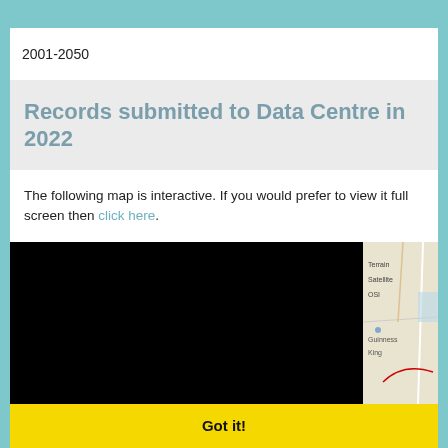2001-2050
Records submitted to Data Centre in 2022
The following map is interactive. If you would prefer to view it full screen then click here.
[Figure (map): Interactive map of records submitted to Data Centre in 2022, partially obscured by a cookie consent overlay. Map shows Ireland with terrain and OSI base layers. Cookie notice reads: This website uses cookies in accordance with our privacy policy [http://www.biodiversityireland.ie/privacy-policy] to ensure you get the best experience on our website. Learn more]
Got it!